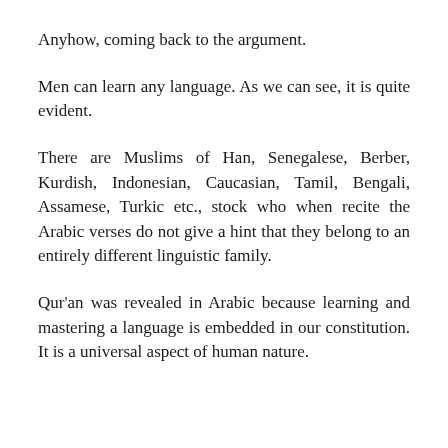Anyhow, coming back to the argument.
Men can learn any language. As we can see, it is quite evident.
There are Muslims of Han, Senegalese, Berber, Kurdish, Indonesian, Caucasian, Tamil, Bengali, Assamese, Turkic etc., stock who when recite the Arabic verses do not give a hint that they belong to an entirely different linguistic family.
Qur'an was revealed in Arabic because learning and mastering a language is embedded in our constitution. It is a universal aspect of human nature.